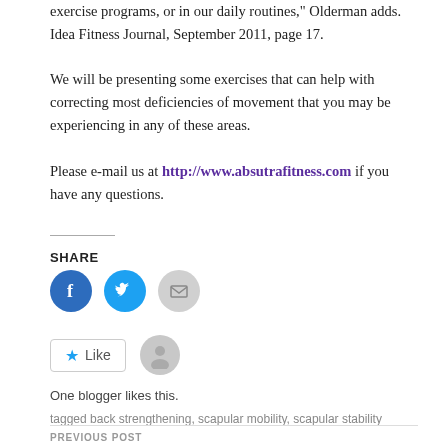exercise programs, or in our daily routines," Olderman adds. Idea Fitness Journal, September 2011, page 17.
We will be presenting some exercises that can help with correcting most deficiencies of movement that you may be experiencing in any of these areas.
Please e-mail us at http://www.absutrafitness.com if you have any questions.
SHARE
[Figure (infographic): Social share buttons: Facebook (blue circle with f icon), Twitter (blue circle with bird icon), Email (grey circle with envelope icon)]
[Figure (infographic): Like button with star icon and avatar silhouette]
One blogger likes this.
tagged back strengthening, scapular mobility, scapular stability
PREVIOUS POST
Tell me More About the Core
NEXT POST